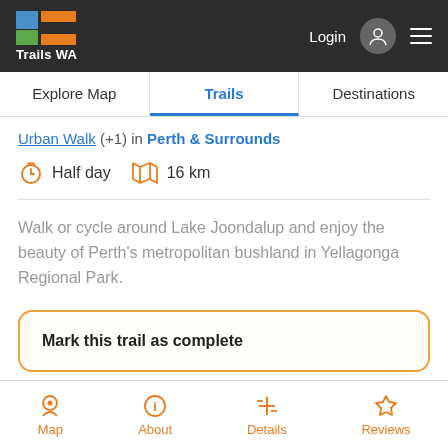Trails WA — Login | Menu
Explore Map | Trails | Destinations
Urban Walk (+1) in Perth & Surrounds
Half day  16 km
Walk or cycle around Lake Joondalup and enjoy the beauty of Perth's metropolitan bushland in Yellagonga Regional Park.
Mark this trail as complete
Map | About | Details | Reviews